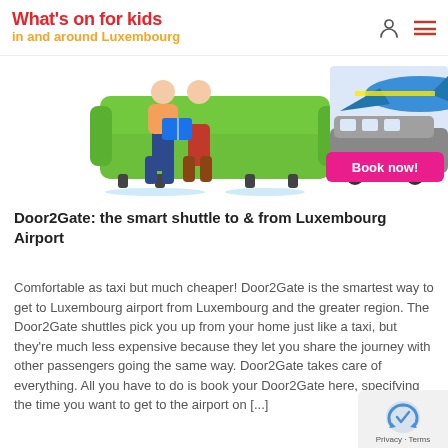What's on for kids in and around Luxembourg
[Figure (illustration): Two people sitting on a green sofa reading a book on the left; an airplane and shuttle bus with 'Book now!' pink button on the right]
Door2Gate: the smart shuttle to & from Luxembourg Airport
Comfortable as taxi but much cheaper! Door2Gate is the smartest way to get to Luxembourg airport from Luxembourg and the greater region. The Door2Gate shuttles pick you up from your home just like a taxi, but they're much less expensive because they let you share the journey with other passengers going the same way. Door2Gate takes care of everything. All you have to do is book your Door2Gate here, specifying the time you want to get to the airport on [...]